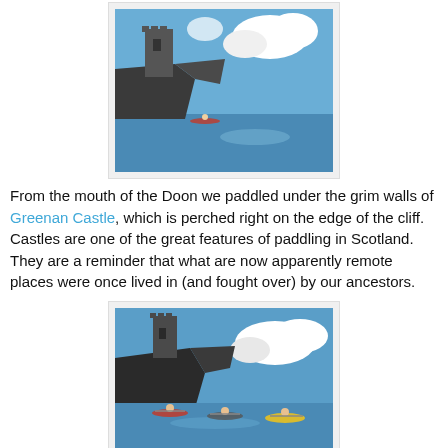[Figure (photo): Aerial/coastal view of Greenan Castle perched on a cliff edge above calm blue water, with kayakers visible near the shore and white clouds in a blue sky.]
From the mouth of the Doon we paddled under the grim walls of Greenan Castle, which is perched right on the edge of the cliff. Castles are one of the great features of paddling in Scotland. They are a reminder that what are now apparently remote places were once lived in (and fought over) by our ancestors.
[Figure (photo): Three kayakers paddling on calm blue water in front of Greenan Castle on a rocky cliff, with clouds in the background. One kayaker is in a yellow kayak.]
We bumped into Richard, from Ayr, who was trying out his